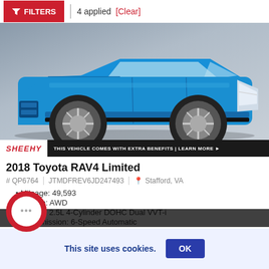FILTERS | 4 applied [Clear]
[Figure (photo): Blue 2018 Toyota RAV4 Limited SUV on a gray background, front three-quarter view showing wheels and front fascia]
SHEEHY | THIS VEHICLE COMES WITH EXTRA BENEFITS | LEARN MORE ▶
2018 Toyota RAV4 Limited
# QP6764 | JTMDFREV6JD247493 | Stafford, VA
Mileage: 49,593
…train: AWD
…: 2.5L 4-Cylinder DOHC Dual VVT-i
…mission: 6-Speed Automatic
…xterior Color: Electric Storm Blue
This site uses cookies.
OK